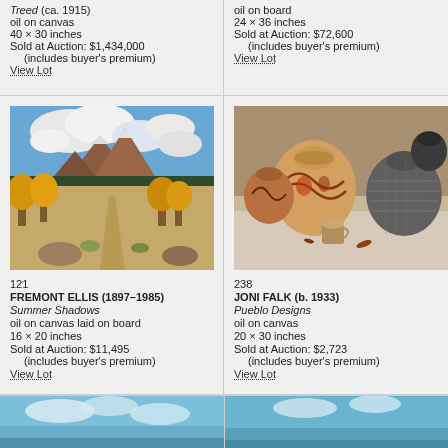Treed (ca. 1915)
oil on canvas
40 × 30 inches
Sold at Auction: $1,434,000
(includes buyer's premium)
View Lot
oil on board
24 × 36 inches
Sold at Auction: $72,600
(includes buyer's premium)
View Lot
[Figure (photo): Landscape oil painting showing mountains, red rock formations, golden autumn trees in foreground under dramatic cloudy sky — Summer Shadows by Fremont Ellis]
121
FREMONT ELLIS (1897–1985)
Summer Shadows
oil on canvas laid on board
16 × 20 inches
Sold at Auction: $11,495
(includes buyer's premium)
View Lot
[Figure (photo): Still life oil painting of Pueblo pottery vessels including decorated ceramic pots and baskets arranged on a surface — Pueblo Designs by Joni Falk]
238
JONI FALK (b. 1933)
Pueblo Designs
oil on canvas
20 × 30 inches
Sold at Auction: $2,723
(includes buyer's premium)
View Lot
[Figure (photo): Partial view of a landscape painting with blue sky, cut off at bottom of page]
[Figure (photo): Partial view of a landscape painting with blue tones, cut off at bottom of page]